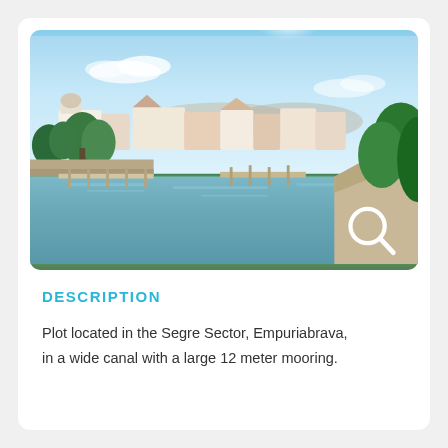[Figure (photo): Photo of a wide canal in Empuriabrava with white Mediterranean-style villas along the waterfront, green trees and palms, blue sky with clouds, and a stone embankment in the foreground. A magnifying glass search icon is visible in the lower right corner.]
DESCRIPTION
Plot located in the Segre Sector, Empuriabrava, in a wide canal with a large 12 meter mooring.